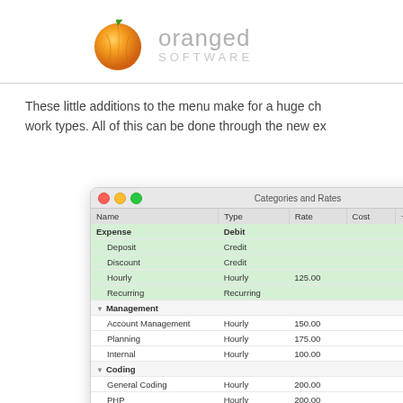[Figure (logo): Oranged Software logo: orange circle fruit icon with green leaf, followed by 'oranged' in light gray and 'SOFTWARE' in lighter gray caps below]
These little additions to the menu make for a huge ch... work types. All of this can be done through the new ex...
[Figure (screenshot): macOS application window titled 'Categories and Rates' showing a table with columns: Name, Type, Rate, Cost, +%, +FPU, +F. Rows include: Expense (Debt, highlighted green), Deposit (Credit, highlighted), Discount (Credit, highlighted), Hourly (Hourly, 125.00, highlighted), Recurring (Recurring, highlighted), Management group header with sub-items: Account Management (Hourly 150.00), Planning (Hourly 175.00), Internal (Hourly 100.00), Coding group header with sub-items: General Coding (Hourly 200.00), PHP (Hourly 200.00), HTML/CSS (Hourly 175.00), C++ (Hourly 200.00), Java (Hourly 200.00), Design group header, Photography group header]